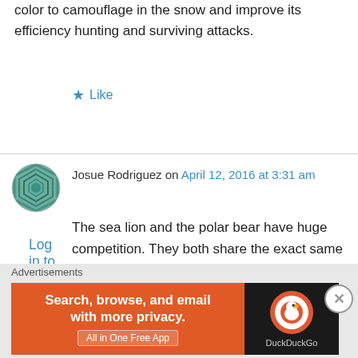color to camouflage in the snow and improve its efficiency hunting and surviving attacks.
★ Like
Log in to Reply
Josue Rodriguez on April 12, 2016 at 3:31 am
The sea lion and the polar bear have huge competition. They both share the exact same environment, this environment becomes smaller every time due to changes in the environment causing the competition to become greater. Rivalry for habitat is one of the most common
Advertisements
[Figure (screenshot): DuckDuckGo advertisement banner: orange left panel with text 'Search, browse, and email with more privacy. All in One Free App' and dark right panel with DuckDuckGo logo and text 'DuckDuckGo']